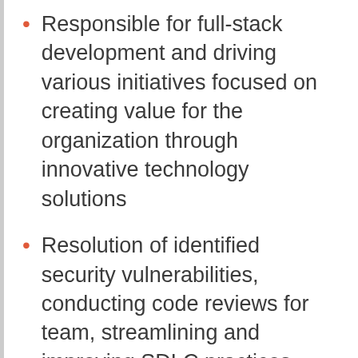Responsible for full-stack development and driving various initiatives focused on creating value for the organization through innovative technology solutions
Resolution of identified security vulnerabilities, conducting code reviews for team, streamlining and improving SDLC practices
Senior Developer at Trend Micro (2014-2019)
Responsible for full stack development with Node,